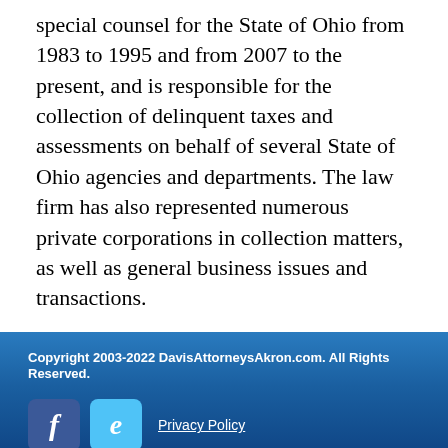special counsel for the State of Ohio from 1983 to 1995 and from 2007 to the present, and is responsible for the collection of delinquent taxes and assessments on behalf of several State of Ohio agencies and departments. The law firm has also represented numerous private corporations in collection matters, as well as general business issues and transactions.
Copyright 2003-2022 DavisAttorneysAkron.com. All Rights Reserved.
[Figure (logo): Facebook icon (blue square with white italic f) and Twitter icon (light blue square with white italic e/t), followed by Privacy Policy link]
The information you obtain at this site is not, nor is it intended to be, legal advice. You should consult an attorney for advice regarding your individual situation. We invite you to contact us and welcome your calls, letters and electronic mail. Contacting us does not create an attorney-client relationship. Please do not send any confidential information to us